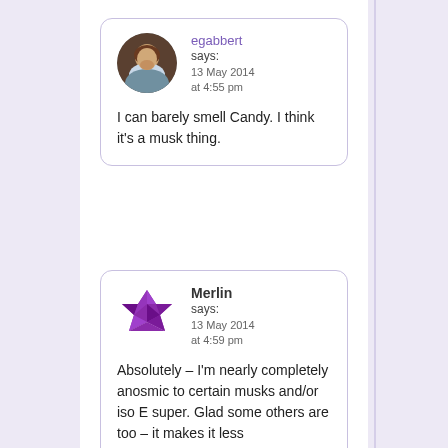egabbert says: 13 May 2014 at 4:55 pm
I can barely smell Candy. I think it's a musk thing.
Merlin says: 13 May 2014 at 4:59 pm
Absolutely – I'm nearly completely anosmic to certain musks and/or iso E super. Glad some others are too – it makes it less